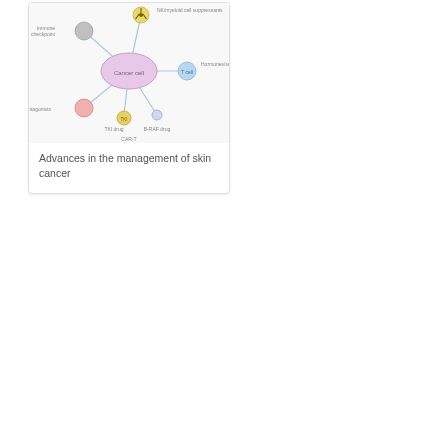[Figure (network-graph): Network diagram showing a cancer cell at the center connected to multiple nodes: Immune cells (gray, top left), NK cells (top center with radiation symbol), T cells (blue, right), Hormones/suppressants (right label), Cytokine antagonists (pink/red, bottom left), TKI drug (yellow, bottom center), BRAF drug (bottom center), CAR-T (bottom label)]
Advances in the management of skin cancer